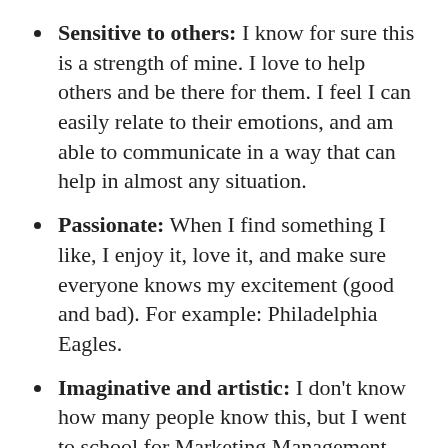Sensitive to others: I know for sure this is a strength of mine. I love to help others and be there for them. I feel I can easily relate to their emotions, and am able to communicate in a way that can help in almost any situation.
Passionate: When I find something I like, I enjoy it, love it, and make sure everyone knows my excitement (good and bad). For example: Philadelphia Eagles.
Imaginative and artistic: I don't know how many people know this, but I went to school for Marketing Management, Graphic Design and Entrepreneurship. I really enjoy being creative. Example: This blog.
Curious: I love learning. New facts, new people, new ideas. All of it. I recently love learning about myself, and discovering new strengths I didn't even know I had.